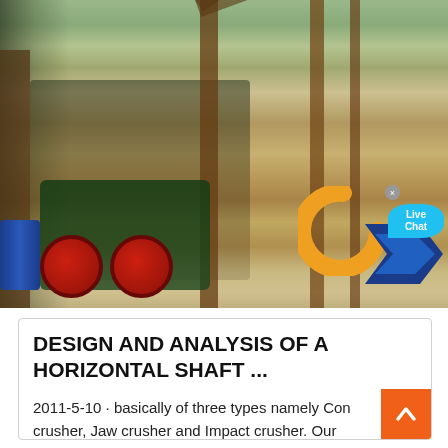[Figure (photo): Photograph of heavy industrial crushing equipment / machinery outdoors, with rusty metal frames, a motor/engine unit with red wheels, and a conveyor structure in the background. An overlay logo and live chat button appear in the lower right corner.]
DESIGN AND ANALYSIS OF A HORIZONTAL SHAFT ...
2011-5-10 · basically of three types namely Con crusher, Jaw crusher and Impact crusher. Our objective is to design various components of an...